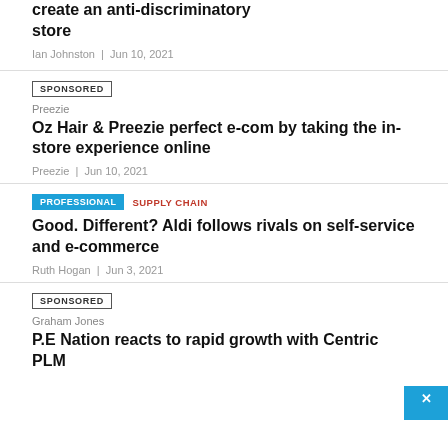create an anti-discriminatory store
Ian Johnston | Jun 10, 2021
SPONSORED
Preezie
Oz Hair & Preezie perfect e-com by taking the in-store experience online
Preezie | Jun 10, 2021
PROFESSIONAL  SUPPLY CHAIN
Good. Different? Aldi follows rivals on self-service and e-commerce
Ruth Hogan | Jun 3, 2021
SPONSORED
Graham Jones
P.E Nation reacts to rapid growth with Centric PLM